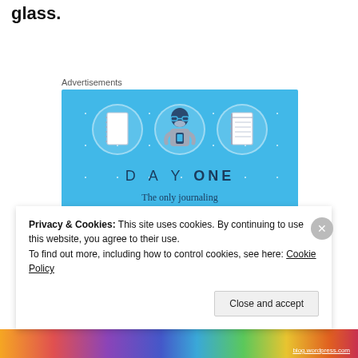glass.
Advertisements
[Figure (illustration): Day One journaling app advertisement on blue background with icons of a notebook, a person holding a phone, and a lined notebook. Text reads DAY ONE - The only journaling app you'll ever need. Blue Get the app button at the bottom.]
Privacy & Cookies: This site uses cookies. By continuing to use this website, you agree to their use. To find out more, including how to control cookies, see here: Cookie Policy
Close and accept